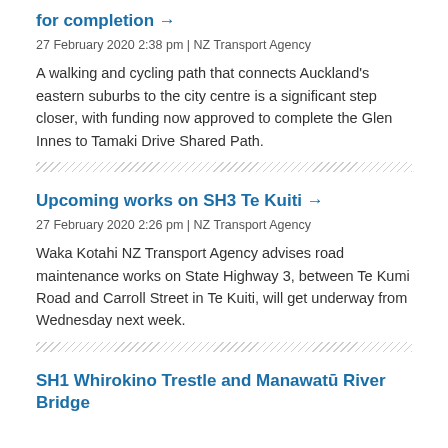for completion →
27 February 2020 2:38 pm | NZ Transport Agency
A walking and cycling path that connects Auckland's eastern suburbs to the city centre is a significant step closer, with funding now approved to complete the Glen Innes to Tamaki Drive Shared Path.
Upcoming works on SH3 Te Kuiti →
27 February 2020 2:26 pm | NZ Transport Agency
Waka Kotahi NZ Transport Agency advises road maintenance works on State Highway 3, between Te Kumi Road and Carroll Street in Te Kuiti, will get underway from Wednesday next week.
SH1 Whirokino Trestle and Manawatū River Bridge